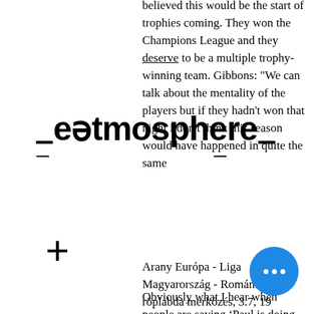believed this would be the start of trophies coming. They won the Champions League and they deserve to be a multiple trophy-winning team. Gibbons: "We can talk about the mentality of the players but if they hadn't won that night I don't think this season would have happened in quite the same
[Figure (logo): eatmosphere logo with minus signs above and below]
+
Obviously what I hear when people are saying ‘Paul is doing this…Paul…Paul’ I don’t know. One day maybe I will meet them [the critics] and ask them because I really want to know why," he said. I am doing my recovery, I can be somewhere else and I hear something but I’m just doing my recovery, you know?’ If they want to speak they are allowed to speak, it’s their job to
Arany Európa - Liga Magyarország - Románia női röplabda merkőzés, 3.7, 19